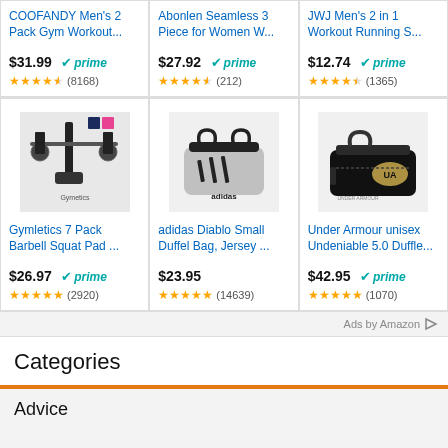[Figure (screenshot): Amazon product ad grid with 6 product cards in 2 rows of 3. Top row: COOFANDY Men's 2 Pack Gym Workout... $31.99 prime 4.5 stars (8168); Abonlen Seamless 3 Piece for Women W... $27.92 prime 4.5 stars (212); JWJ Men's 2 in 1 Workout Running S... $12.74 prime 4.5 stars (1365). Bottom row: Gymletics 7 Pack Barbell Squat Pad... $26.97 prime 5 stars (2920); adidas Diablo Small Duffel Bag, Jersey... $23.95 5 stars (14639); Under Armour unisex Undeniable 5.0 Duffle... $42.95 prime 5 stars (1070).]
Ads by Amazon
Categories
Advice